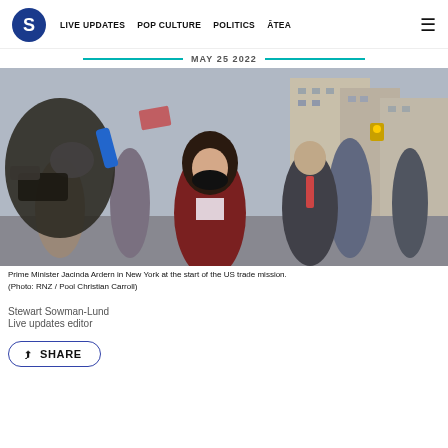S | LIVE UPDATES  POP CULTURE  POLITICS  ĀTEA  ≡
MAY 25 2022
[Figure (photo): Prime Minister Jacinda Ardern walking on a New York street wearing a black mask and dark red jacket, accompanied by security, with a camera crew in the foreground and tall city buildings in the background.]
Prime Minister Jacinda Ardern in New York at the start of the US trade mission. (Photo: RNZ / Pool Christian Carroll)
Stewart Sowman-Lund
Live updates editor
SHARE